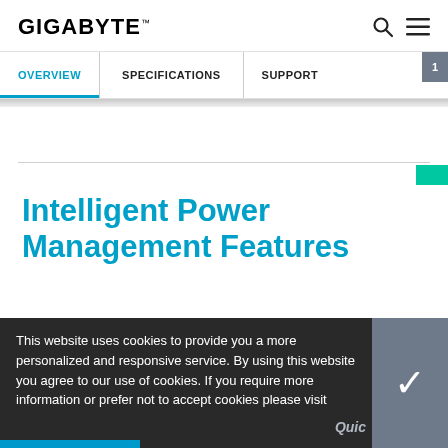GIGABYTE
OVERVIEW | SPECIFICATIONS | SUPPORT
Intelligent Power Management Features
This website uses cookies to provide you a more personalized and responsive service. By using this website you agree to our use of cookies. If you require more information or prefer not to accept cookies please visit